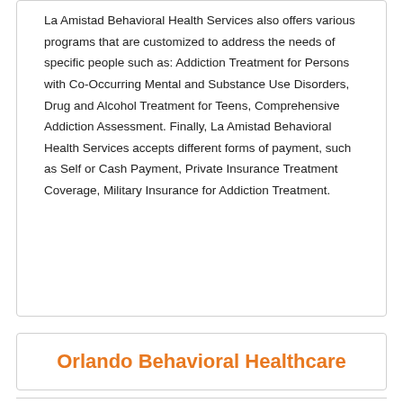La Amistad Behavioral Health Services also offers various programs that are customized to address the needs of specific people such as: Addiction Treatment for Persons with Co-Occurring Mental and Substance Use Disorders, Drug and Alcohol Treatment for Teens, Comprehensive Addiction Assessment. Finally, La Amistad Behavioral Health Services accepts different forms of payment, such as Self or Cash Payment, Private Insurance Treatment Coverage, Military Insurance for Addiction Treatment.
Orlando Behavioral Healthcare